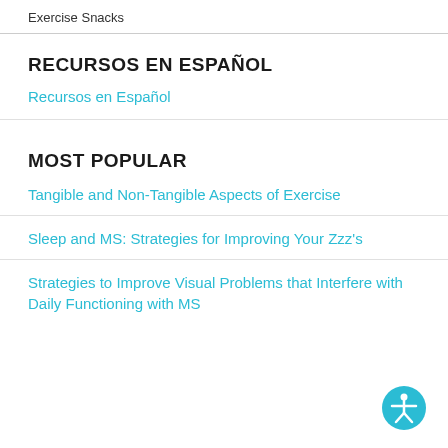Exercise Snacks
RECURSOS EN ESPAÑOL
Recursos en Español
MOST POPULAR
Tangible and Non-Tangible Aspects of Exercise
Sleep and MS: Strategies for Improving Your Zzz's
Strategies to Improve Visual Problems that Interfere with Daily Functioning with MS
[Figure (illustration): Accessibility icon — a teal circle with a white human figure (person with outstretched arms) inside]